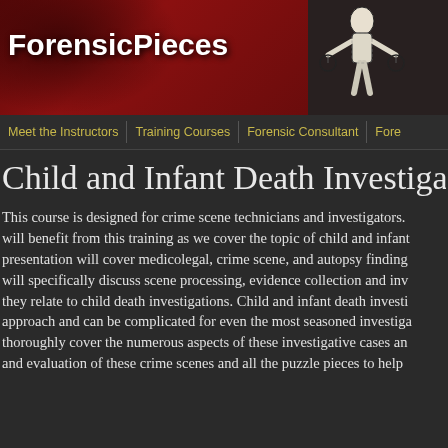[Figure (logo): ForensicPieces website header banner with site logo, stylized figure graphic, and dark red background with face silhouette]
Meet the Instructors   Training Courses   Forensic Consultant   Fore
Child and Infant Death Investigatio
This course is designed for crime scene technicians and investigators. will benefit from this training as we cover the topic of child and infant presentation will cover medicolegal, crime scene, and autopsy finding will specifically discuss scene processing, evidence collection and inv they relate to child death investigations. Child and infant death investi approach and can be complicated for even the most seasoned investiga thoroughly cover the numerous aspects of these investigative cases an and evaluation of these crime scenes and all the puzzle pieces to help